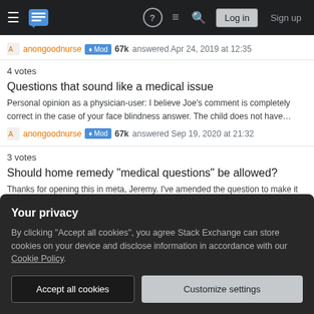Stack Exchange navigation bar with hamburger menu, logo, help, chat, search icons, Log in and Sign up buttons
anongoodnurse ♦ Mod 67k answered Apr 24, 2019 at 12:35
4 votes
Questions that sound like a medical issue
Personal opinion as a physician-user: I believe Joe's comment is completely correct in the case of your face blindness answer. The child does not have…
anongoodnurse ♦ Mod 67k answered Sep 19, 2020 at 21:32
3 votes
Should home remedy "medical questions" be allowed?
Thanks for opening this in meta, Jeremy. I've amended the question to make it clearer that I'm not seeking medical advice, but rather experience from other…
Your privacy
By clicking "Accept all cookies", you agree Stack Exchange can store cookies on your device and disclose information in accordance with our Cookie Policy.
Accept all cookies  Customize settings
Karl Bielefeldt 35.8k answered Nov 6, 2014 at 3:01